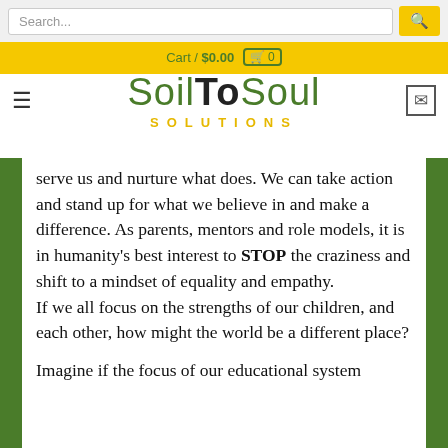Search... Cart / $0.00 [0]
[Figure (logo): SoilToSoul Solutions logo with hamburger menu and mail icon]
serve us and nurture what does. We can take action and stand up for what we believe in and make a difference. As parents, mentors and role models, it is in humanity's best interest to STOP the craziness and shift to a mindset of equality and empathy.
If we all focus on the strengths of our children, and each other, how might the world be a different place?

Imagine if the focus of our educational system